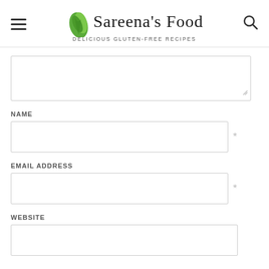[Figure (logo): Sareena's Food logo with green leaf and cursive text, subtitle: Delicious Gluten-Free Recipes]
[Figure (screenshot): Comment textarea input box, partially visible at the top]
NAME
[Figure (screenshot): Name input field with asterisk required marker]
EMAIL ADDRESS
[Figure (screenshot): Email address input field with asterisk required marker]
WEBSITE
[Figure (screenshot): Website input field]